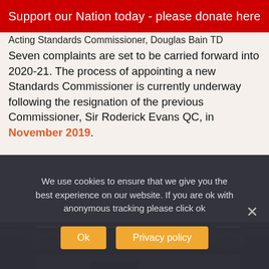Support our Nation today - please donate here
Acting Standards Commissioner, Douglas Bain TD
Seven complaints are set to be carried forward into 2020-21. The process of appointing a new Standards Commissioner is currently underway following the resignation of the previous Commissioner, Sir Roderick Evans QC, in November 2019.
[Figure (photo): Interior of a large industrial warehouse or sports hall with steel roof trusses, strip lighting, and metal cladding walls.]
We use cookies to ensure that we give you the best experience on our website. If you are ok with anonymous tracking please click ok